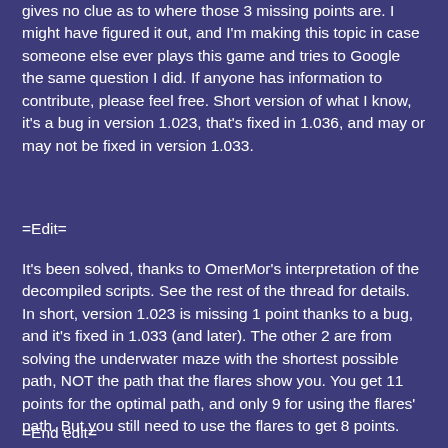gives no clue as to where those 3 missing points are. I might have figured it out, and I'm making this topic in case someone else ever plays this game and tries to Google the same question I did. If anyone has information to contribute, please feel free. Short version of what I know, it's a bug in version 1.023, that's fixed in 1.036, and may or may not be fixed in version 1.033.
=Edit=
It's been solved, thanks to OmerMor's interpretation of the decompiled scripts. See the rest of the thread for details. In short, version 1.023 is missing 1 point thanks to a bug, and it's fixed in 1.033 (and later). The other 2 are from solving the underwater maze with the shortest possible path, NOT the path that the flares show you. You get 11 points for the optimal path, and only 9 for using the flares' path. But you still need to use the flares to get 8 points.
=End edit=